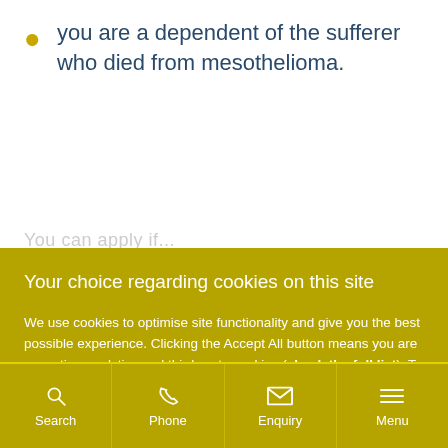you are a dependent of the sufferer who died from mesothelioma.
Your choice regarding cookies on this site
We use cookies to optimise site functionality and give you the best possible experience. Clicking the Accept All button means you are accepting analytics and third-party cookies (check the full list). To control which cookies are set, click Settings.
Accept All | Settings
Search | Phone | Enquiry | Menu